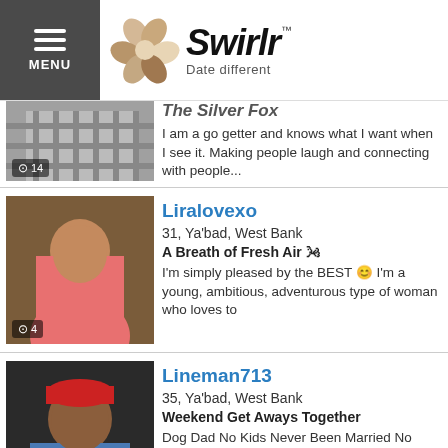[Figure (screenshot): Swirlr dating app header with menu button, flower logo, and 'Date different' tagline]
The Silver Fox
I am a go getter and knows what I want when I see it. Making people laugh and connecting with people...
Liralovexo
31, Ya'bad, West Bank
A Breath of Fresh Air 🌬
I'm simply pleased by the BEST 😊 I'm a young, ambitious, adventurous type of woman who loves to
Lineman713
35, Ya'bad, West Bank
Weekend Get Aways Together
Dog Dad No Kids Never Been Married No Crazy Ex World Traveler Absolute Foodie Lineman For The...
Khall208
27, Ya'bad, West Bank
READ MY PROFILE, MIGHT SAVE YOUR TIME
Paulet is a very kindhearted,loving,caring kand an